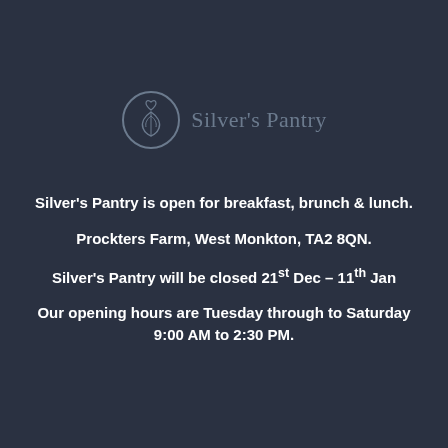[Figure (logo): Silver's Pantry logo: circular emblem with a leaf/coffee latte art design and the text 'Silver's Pantry']
Silver's Pantry is open for breakfast, brunch & lunch.
Prockters Farm, West Monkton, TA2 8QN.
Silver's Pantry will be closed 21st Dec – 11th Jan
Our opening hours are Tuesday through to Saturday 9:00 AM to 2:30 PM.